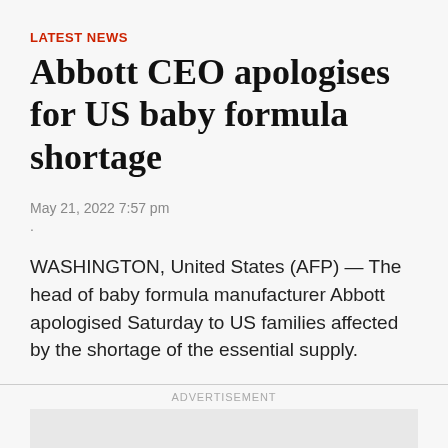LATEST NEWS
Abbott CEO apologises for US baby formula shortage
May 21, 2022 7:57 pm
.
WASHINGTON, United States (AFP) — The head of baby formula manufacturer Abbott apologised Saturday to US families affected by the shortage of the essential supply.
ADVERTISEMENT